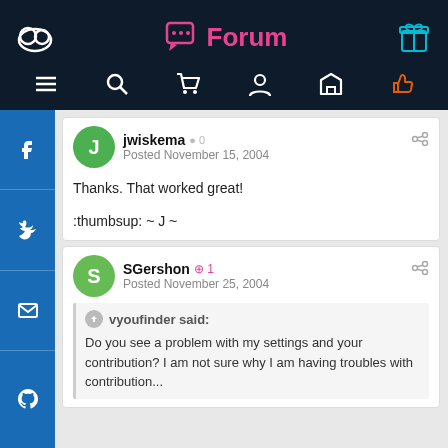Forum
jwiskema · Posted November 15, 2004
Thanks. That worked great!
:thumbsup: ~ J ~
SGershon +1 · Posted November 25, 2004
vyoufinder said: Do you see a problem with my settings and your contribution? I am not sure why I am having troubles with contribution...